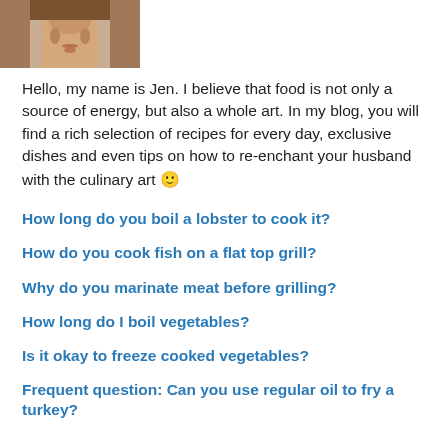[Figure (photo): Partial photo of a woman, cropped at the top of the page, showing her face from nose down with hoop earrings and brown hair.]
Hello, my name is Jen. I believe that food is not only a source of energy, but also a whole art. In my blog, you will find a rich selection of recipes for every day, exclusive dishes and even tips on how to re-enchant your husband with the culinary art 🙂
How long do you boil a lobster to cook it?
How do you cook fish on a flat top grill?
Why do you marinate meat before grilling?
How long do I boil vegetables?
Is it okay to freeze cooked vegetables?
Frequent question: Can you use regular oil to fry a turkey?